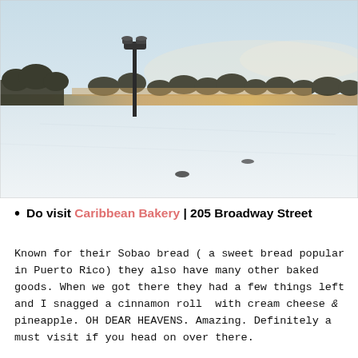[Figure (photo): Aerial winter landscape photo showing a snow-covered field in the foreground with a street lamp on the left, bare trees in the middle distance, and a city skyline with warm sunset light on the horizon under a pale blue sky.]
Do visit Caribbean Bakery | 205 Broadway Street
Known for their Sobao bread ( a sweet bread popular in Puerto Rico) they also have many other baked goods. When we got there they had a few things left and I snagged a cinnamon roll  with cream cheese & pineapple. OH DEAR HEAVENS. Amazing. Definitely a must visit if you head on over there.